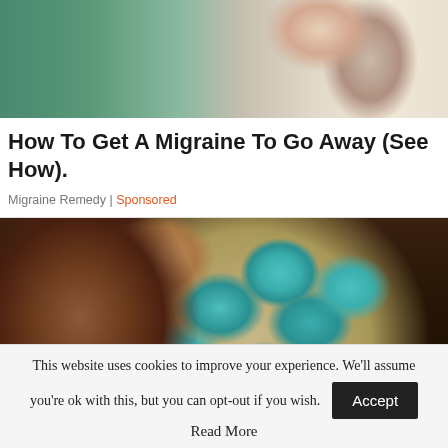[Figure (photo): Medical professional in green scrubs examining a patient with long blonde hair, upper body visible]
How To Get A Migraine To Go Away (See How).
Migraine Remedy | Sponsored
[Figure (photo): Close-up of a hand holding a blister pack of blue diamond-shaped pills against a dark background]
This website uses cookies to improve your experience. We'll assume you're ok with this, but you can opt-out if you wish. Accept Read More